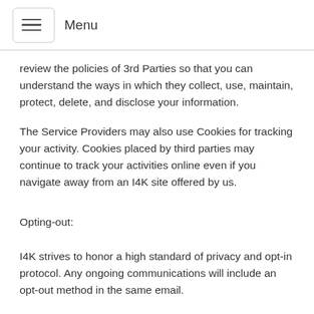Menu
review the policies of 3rd Parties so that you can understand the ways in which they collect, use, maintain, protect, delete, and disclose your information.
The Service Providers may also use Cookies for tracking your activity. Cookies placed by third parties may continue to track your activities online even if you navigate away from an I4K site offered by us.
Opting-out:
I4K strives to honor a high standard of privacy and opt-in protocol. Any ongoing communications will include an opt-out method in the same email.
Your California Privacy Rights